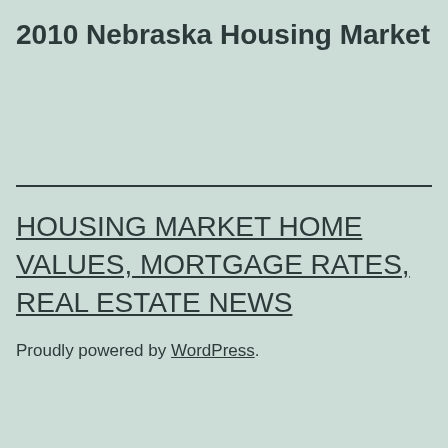2010 Nebraska Housing Market
HOUSING MARKET HOME VALUES, MORTGAGE RATES, REAL ESTATE NEWS
Proudly powered by WordPress.